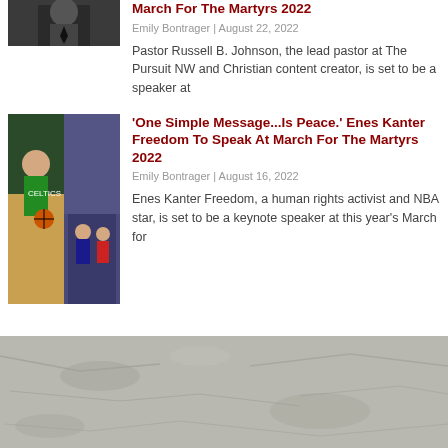March For The Martyrs 2022
Emily Bontrager | August 22, 2022
Pastor Russell B. Johnson, the lead pastor at The Pursuit NW and Christian content creator, is set to be a speaker at
[Figure (photo): Portrait photo of a man in a suit and tie]
[Figure (photo): Basketball player in Celtics jersey and crowd in background]
'One Simple Message...Is Peace.' Enes Kanter Freedom To Speak At March For The Martyrs 2022
Emily Bontrager | August 16, 2022
Enes Kanter Freedom, a human rights activist and NBA star, is set to be a keynote speaker at this year's March for
[Figure (photo): Stone or rock textured surface, aerial or ground-level view]